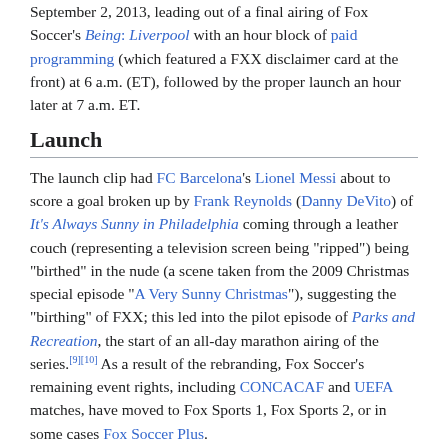September 2, 2013, leading out of a final airing of Fox Soccer's Being: Liverpool with an hour block of paid programming (which featured a FXX disclaimer card at the front) at 6 a.m. (ET), followed by the proper launch an hour later at 7 a.m. ET.
Launch
The launch clip had FC Barcelona's Lionel Messi about to score a goal broken up by Frank Reynolds (Danny DeVito) of It's Always Sunny in Philadelphia coming through a leather couch (representing a television screen being "ripped") being "birthed" in the nude (a scene taken from the 2009 Christmas special episode "A Very Sunny Christmas"), suggesting the "birthing" of FXX; this led into the pilot episode of Parks and Recreation, the start of an all-day marathon airing of the series.[9][10] As a result of the rebranding, Fox Soccer's remaining event rights, including CONCACAF and UEFA matches, have moved to Fox Sports 1, Fox Sports 2, or in some cases Fox Soccer Plus.
Although the channel is intended by Fox to be part of the basic cable lineup, on many providers (including Suddenlink Communications, DirecTV, Verizon FiOS, and Charter